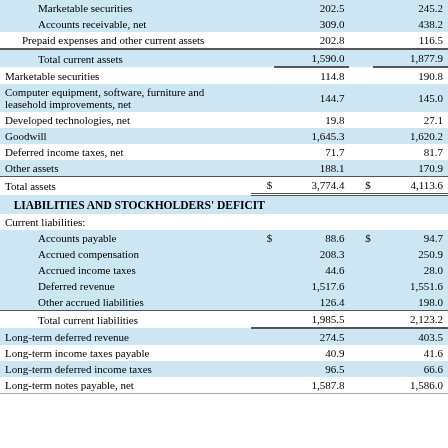|  |  | Col1 |  | Col2 |
| --- | --- | --- | --- | --- |
| Marketable securities |  | 202.5 |  | 245.2 |
| Accounts receivable, net |  | 309.0 |  | 438.2 |
| Prepaid expenses and other current assets |  | 202.8 |  | 116.5 |
| Total current assets |  | 1,590.0 |  | 1,877.9 |
| Marketable securities |  | 114.8 |  | 190.8 |
| Computer equipment, software, furniture and leasehold improvements, net |  | 144.7 |  | 145.0 |
| Developed technologies, net |  | 19.8 |  | 27.1 |
| Goodwill |  | 1,645.3 |  | 1,620.2 |
| Deferred income taxes, net |  | 71.7 |  | 81.7 |
| Other assets |  | 188.1 |  | 170.9 |
| Total assets | $ | 3,774.4 | $ | 4,113.6 |
| LIABILITIES AND STOCKHOLDERS' DEFICIT |  |  |  |  |
| Current liabilities: |  |  |  |  |
| Accounts payable | $ | 88.6 | $ | 94.7 |
| Accrued compensation |  | 208.3 |  | 250.9 |
| Accrued income taxes |  | 44.6 |  | 28.0 |
| Deferred revenue |  | 1,517.6 |  | 1,551.6 |
| Other accrued liabilities |  | 126.4 |  | 198.0 |
| Total current liabilities |  | 1,985.5 |  | 2,123.2 |
| Long-term deferred revenue |  | 274.5 |  | 403.5 |
| Long-term income taxes payable |  | 40.9 |  | 41.6 |
| Long-term deferred income taxes |  | 96.5 |  | 66.6 |
| Long-term notes payable, net |  | 1,587.8 |  | 1,586.0 |